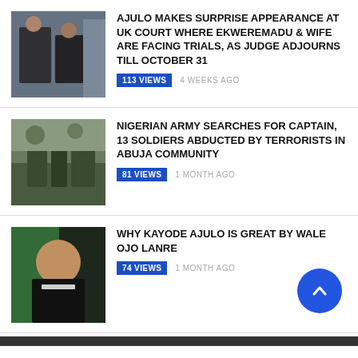[Figure (photo): Two men in suits, one greeting another at what appears to be a court or formal setting]
AJULO MAKES SURPRISE APPEARANCE AT UK COURT WHERE EKWEREMADU & WIFE ARE FACING TRIALS, AS JUDGE ADJOURNS TILL OCTOBER 31
113 VIEWS   4 WEEKS AGO
[Figure (photo): Military/soldiers or camouflage scene, possibly in a forest or dense vegetation]
NIGERIAN ARMY SEARCHES FOR CAPTAIN, 13 SOLDIERS ABDUCTED BY TERRORISTS IN ABUJA COMMUNITY
81 VIEWS   1 MONTH AGO
[Figure (photo): Portrait of a smiling African man in a suit against a green and dark background]
WHY KAYODE AJULO IS GREAT BY WALE OJO LANRE
74 VIEWS   1 MONTH AGO
KBJOJO VIDEOS-LOGS FOR